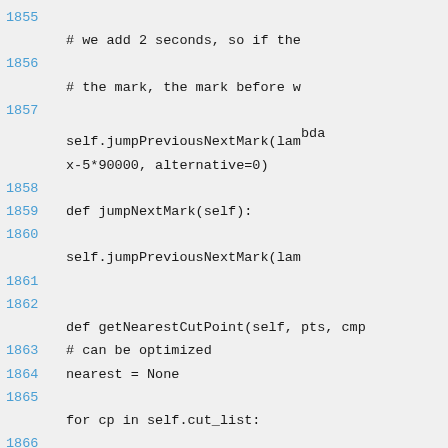Code listing lines 1855-1866 showing Python source code with jumpPreviousNextMark, jumpNextMark, and getNearestCutPoint methods.